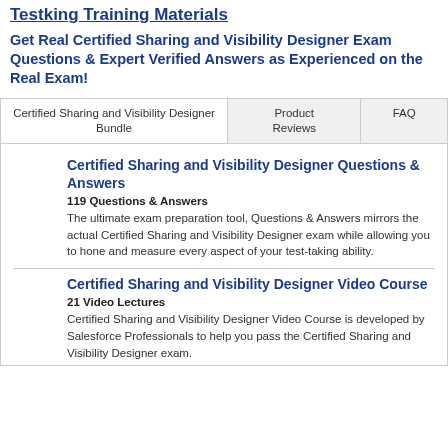Testking Training Materials
Get Real Certified Sharing and Visibility Designer Exam Questions & Expert Verified Answers as Experienced on the Real Exam!
| Certified Sharing and Visibility Designer Bundle | Product Reviews | FAQ |
| --- | --- | --- |
Certified Sharing and Visibility Designer Questions & Answers
119 Questions & Answers
The ultimate exam preparation tool, Questions & Answers mirrors the actual Certified Sharing and Visibility Designer exam while allowing you to hone and measure every aspect of your test-taking ability.
Certified Sharing and Visibility Designer Video Course
21 Video Lectures
Certified Sharing and Visibility Designer Video Course is developed by Salesforce Professionals to help you pass the Certified Sharing and Visibility Designer exam.